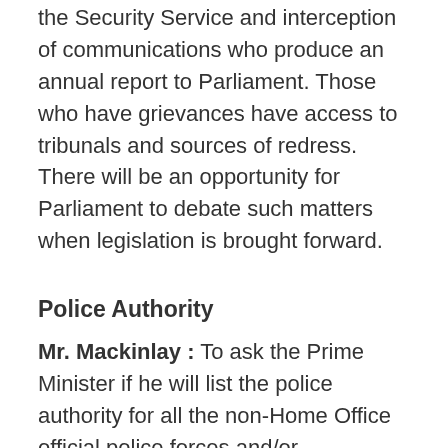the Security Service and interception of communications who produce an annual report to Parliament. Those who have grievances have access to tribunals and sources of redress. There will be an opportunity for Parliament to debate such matters when legislation is brought forward.
Police Authority
Mr. Mackinlay : To ask the Prime Minister if he will list the police authority for all the non-Home Office official police forces and/or constabularies.
The Prime Minister : A number of bodies have powers under legislation other than the Police Act 1964 to appoint persons having some of the powers of a constable. A full list of such organisations is not held centrally and could only